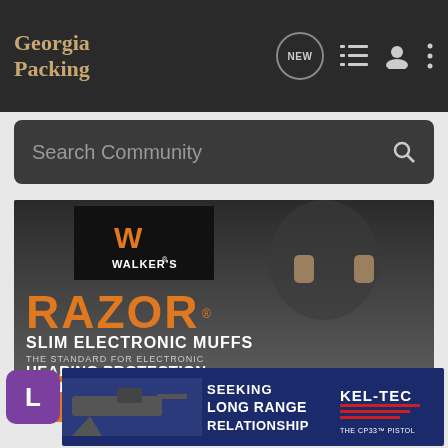Georgia Packing
Search Community
[Figure (screenshot): Walker's Razor Slim Electronic Muffs advertisement. Shows a man wearing camo hearing protection and sunglasses holding a rifle. Text reads: WALKER'S, RAZOR SLIM ELECTRONIC MUFFS, THE STANDARD FOR ELECTRONIC HEARING PROTECTION & ENHANCEMENT, SHOP NOW →]
[Figure (screenshot): Kel-Tec CP33 Pistol advertisement. Text reads: SEEKING LONG RANGE RELATIONSHIP, KEL-TEC, THE CP33 PISTOL. Shows an image of the CP33 pistol.]